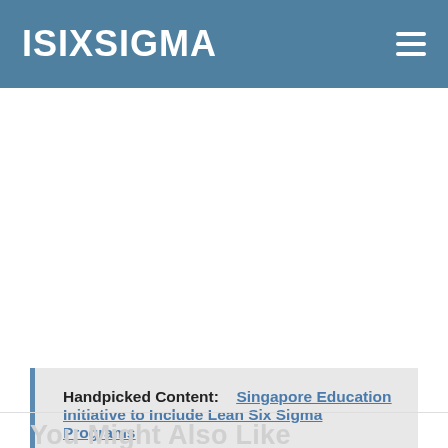ISIXSIGMA
[Figure (other): Large white/light grey advertisement or blank content area below the navigation header]
Handpicked Content:   Singapore Education Initiative to Include Lean Six Sigma Programs
You Might Also Like